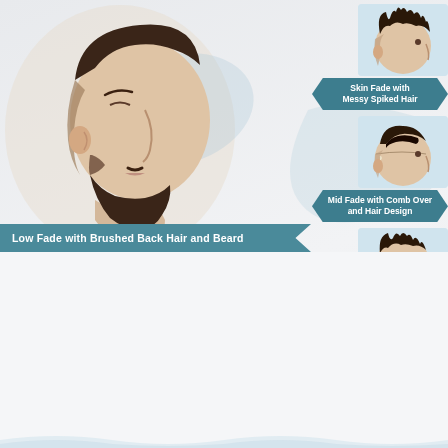[Figure (illustration): Large side-profile illustration of a man with low fade haircut, brushed back hair and beard]
Low Fade with Brushed Back Hair and Beard
[Figure (illustration): Small illustration of man with Skin Fade with Messy Spiked Hair]
Skin Fade with Messy Spiked Hair
[Figure (illustration): Small illustration of man with Mid Fade with Comb Over and Hair Design]
Mid Fade with Comb Over and Hair Design
[Figure (illustration): Small illustration of man with High Skin Fade with Spiky Hair and Beard]
High Skin Fade with Spiky Hair and Beard
Fade
The fade haircut, along with the undercut, has become extremely popular with the emergence of the "short sides, long top" modern men's hair craze.
The fade refers to the way you cut the sides and back of your hair. As the name suggests, a fade gradually shortens (or "fades") in length with your longest hair at the top and shortest hair at the bottom.
The haircut is exclusively cut using clippers and comes in a variety of styles – the most popular of which are the high, mid, low and skin/bald fades. The decision to get a low vs. mid vs. high fade is a personal choice and depends on where you want the cut to start. Similarly, the skin or bald fade determines how short the faded hair is supposed to get.